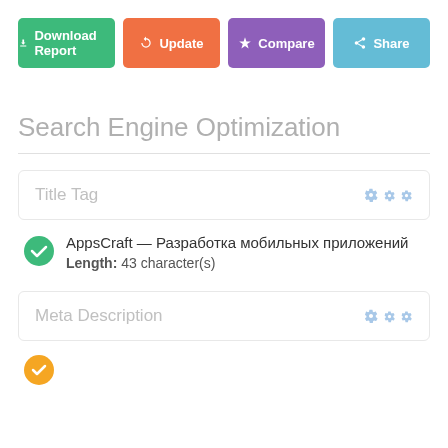[Figure (screenshot): Row of four action buttons: Download Report (green), Update (orange), Compare (purple), Share (blue)]
Search Engine Optimization
Title Tag
AppsCraft — Разработка мобильных приложений
Length: 43 character(s)
Meta Description